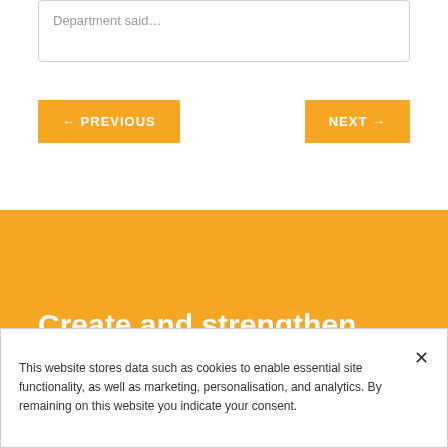Department said...
← PREVIOUS
NEXT →
[Figure (photo): Orange banner background with machinery/warehouse imagery]
Create and strengthen powerful relationships among key players in the
This website stores data such as cookies to enable essential site functionality, as well as marketing, personalisation, and analytics. By remaining on this website you indicate your consent.